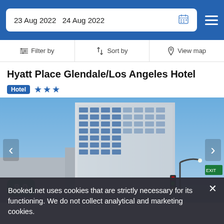23 Aug 2022   24 Aug 2022
Filter by   Sort by   View map
Hyatt Place Glendale/Los Angeles Hotel
Hotel ★★★
[Figure (photo): Exterior photo of Hyatt Place Glendale/Los Angeles Hotel, a tall modern building with blue glass windows against a blue sky. Score badge showing 8.0 in green.]
Booked.net uses cookies that are strictly necessary for its functioning. We do not collect analytical and marketing cookies.
700 yd from City Center